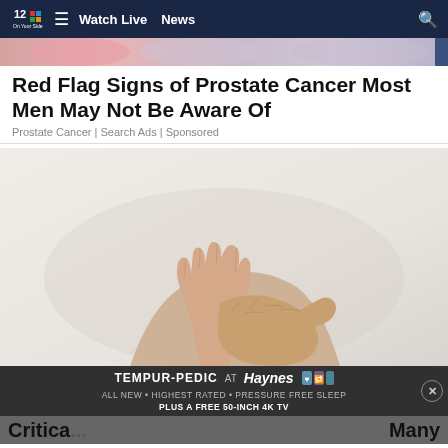NBC12 ≡ Watch Live  News
[Figure (photo): Partial top strip of a photo showing pink/blue tones, cropped at top of page]
Red Flag Signs of Prostate Cancer Most Men May Not Be Aware Of
Prostate Cancer | Search Ads | Sponsored
[Figure (photo): Close-up photo of a person's hands clasped together, holding their wrist/hand, suggesting pain or discomfort. Beige/cream background.]
[Figure (photo): Advertisement banner: TEMPUR-PEDIC AT Haynes. ALL NEW • HIGHEST RATED • PRESSURE FREE SLEEP. PLUS A FREE 50-INCH 4K TV. With icons.]
Critica...  Many